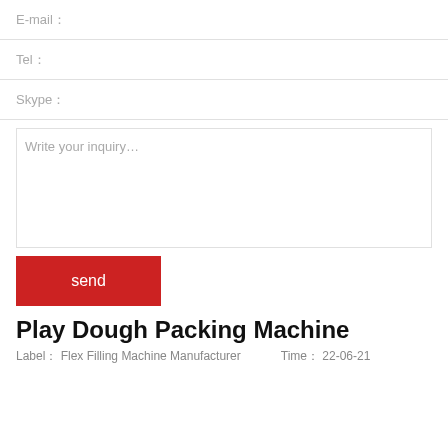E-mail：
Tel：
Skype：
Write your inquiry…
send
Play Dough Packing Machine
Label： Flex Filling Machine Manufacturer    Time： 22-06-21